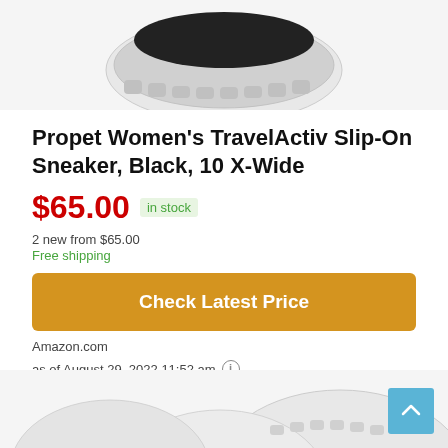[Figure (photo): Top portion of a white sneaker shoe (bottom-up view showing sole) on a light gray background]
Propet Women's TravelActiv Slip-On Sneaker, Black, 10 X-Wide
$65.00  in stock
2 new from $65.00
Free shipping
Check Latest Price
Amazon.com
as of August 29, 2022 11:52 am ℹ
[Figure (photo): Bottom portion of white sneaker shoes partially visible at the bottom of the page]